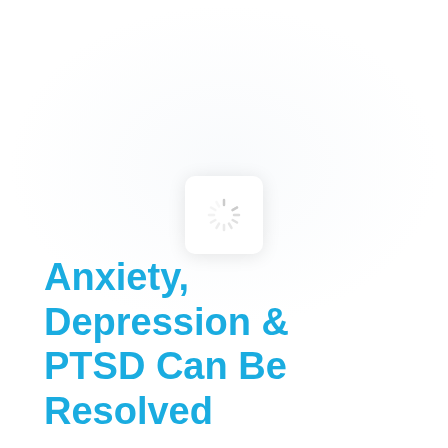[Figure (other): A loading spinner icon — white rounded-square card with a circular spinner made of short radial tick marks in light gray, centered on the page upper half.]
Anxiety, Depression & PTSD Can Be Resolved